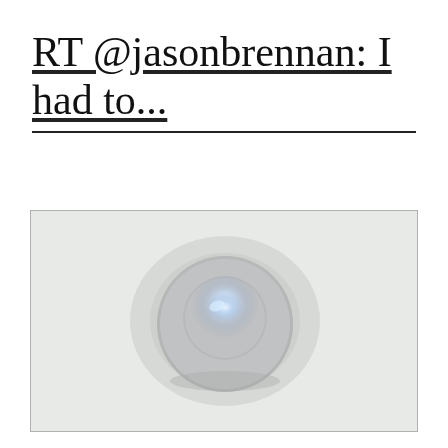RT @jasonbrennan: I had to...
[Figure (photo): Apple HomePod mini smart speaker viewed from above at a slight angle, white/silver color with mesh fabric exterior and a glowing blue-white light on top, set against a light gray background]